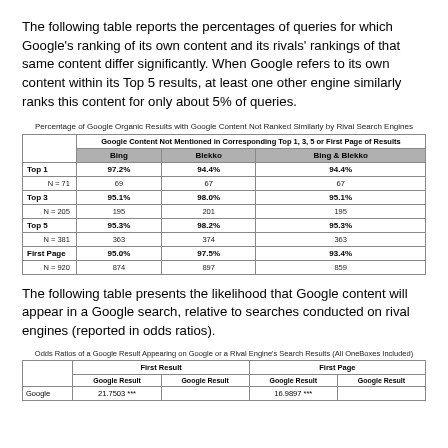The following table reports the percentages of queries for which Google's ranking of its own content and its rivals' rankings of that same content differ significantly. When Google refers to its own content within its Top 5 results, at least one other engine similarly ranks this content for only about 5% of queries.
Percentage of Google Organic Results with Google Content Not Ranked Similarly by Rival Search Engines
| ['', 'Google Content Not Mentioned in Corresponding Top 1, 3, 5 or First Page of Results', '', ''] | ['', 'Bing', 'Blekko', 'Bing & Blekko'] |
| --- | --- |
| Top 1 | 97.2% | 94.4% | 94.4% |
| N = 71 | 69 | 67 | 67 |
| Top 3 | 95.1% | 98.0% | 95.1% |
| N = 205 | 195 | 201 | 195 |
| Top 5 | 95.3% | 98.2% | 95.3% |
| N = 381 | 363 | 374 | 363 |
| First Page | 95.0% | 97.5% | 93.4% |
| N = 920 | 874 | 897 | 859 |
The following table presents the likelihood that Google content will appear in a Google search, relative to searches conducted on rival engines (reported in odds ratios).
Odds Ratios of a Google Result Appearing on Google or a Rival Engine's Search Results (All OneBoxes Included)
| ['', 'First Result', '', 'First Page', ''] | ['', 'Google Result', 'Google Result', 'Google Result', 'Google Result'] |
| --- | --- |
| Google | 21.7503 *** |  | 16.9897 *** |  |